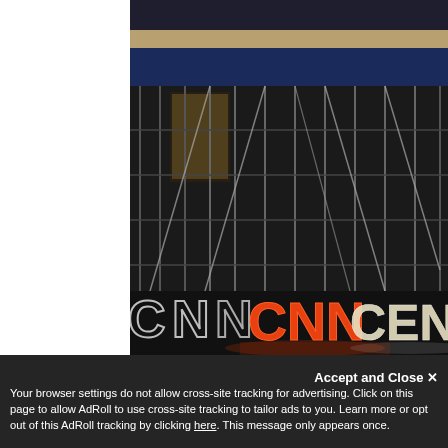[Figure (photo): Night photograph of CNN Center building exterior. Large illuminated CNN CENTER letters visible at the bottom of the building facade. Glass and metal grid exterior visible. White bar on the left side of the image.]
Accept and Close ✕
Your browser settings do not allow cross-site tracking for advertising. Click on this page to allow AdRoll to use cross-site tracking to tailor ads to you. Learn more or opt out of this AdRoll tracking by clicking here. This message only appears once.